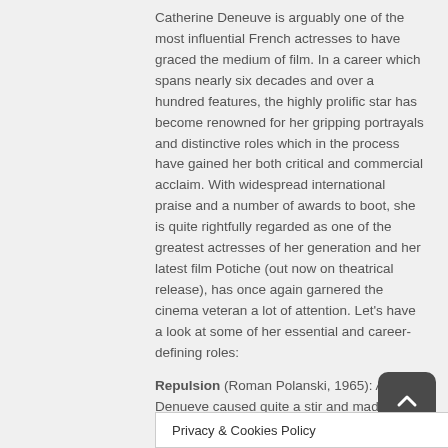Catherine Deneuve is arguably one of the most influential French actresses to have graced the medium of film. In a career which spans nearly six decades and over a hundred features, the highly prolific star has become renowned for her gripping portrayals and distinctive roles which in the process have gained her both critical and commercial acclaim. With widespread international praise and a number of awards to boot, she is quite rightfully regarded as one of the greatest actresses of her generation and her latest film Potiche (out now on theatrical release), has once again garnered the cinema veteran a lot of attention. Let’s have a look at some of her essential and career-defining roles:

Repulsion (Roman Polanski, 1965): A young Denueve caused quite a stir and made a name for herself in this dark, mid-sixties psychological thriller. The first film in Roman Polanski’s loose “Apartment Trilogy” (followed b
Privacy & Cookies Policy